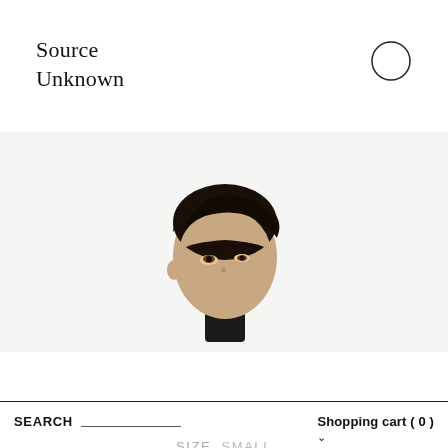Source Unknown
[Figure (logo): Source Unknown brand logo, serif text, two lines]
[Figure (photo): Model's head and partial upper body against light grey background, dark hair slicked back, looking slightly upward, wearing dark knit top]
CURVE NECK KNIT TOP, POWDER
128.00 USD
SEARCH  SIZE SMALL  Shopping cart ( 0 )